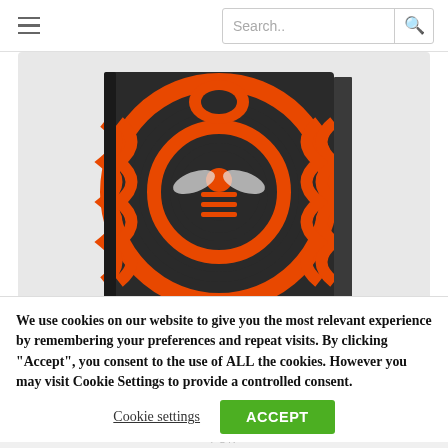Search..
[Figure (photo): A book with a dark background and orange swirling psychedelic artwork featuring a bee, standing upright on a surface.]
Download our latest international highlights catalogue
Download Now
We use cookies on our website to give you the most relevant experience by remembering your preferences and repeat visits. By clicking “Accept”, you consent to the use of ALL the cookies. However you may visit Cookie Settings to provide a controlled consent.
Cookie settings
ACCEPT